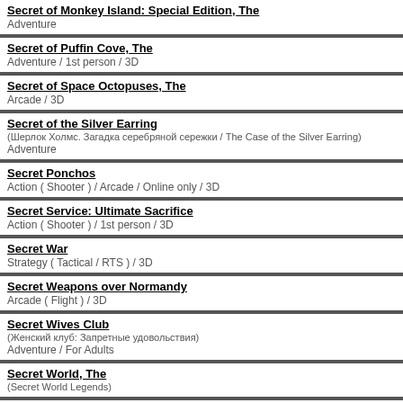Secret of Monkey Island: Special Edition, The
Adventure
Secret of Puffin Cove, The
Adventure / 1st person / 3D
Secret of Space Octopuses, The
Arcade / 3D
Secret of the Silver Earring
(Шерлок Холмс. Загадка серебряной сережки / The Case of the Silver Earring)
Adventure
Secret Ponchos
Action ( Shooter ) / Arcade / Online only / 3D
Secret Service: Ultimate Sacrifice
Action ( Shooter ) / 1st person / 3D
Secret War
Strategy ( Tactical / RTS ) / 3D
Secret Weapons over Normandy
Arcade ( Flight ) / 3D
Secret Wives Club
(Женский клуб: Запретные удовольствия)
Adventure / For Adults
Secret World, The
(Secret World Legends)